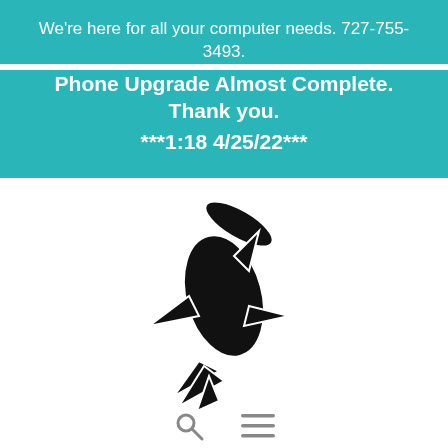We're here for all your computer needs. 727-755-3493.
Phone Upgrade Almost Complete.
Thank you.
***1:18 4/25/22***
[Figure (illustration): Black silhouette of a hammerhead shark facing upward-left on a white background]
[Figure (other): Search icon (magnifying glass) and menu icon (hamburger/three lines) in gray at the bottom of the page]